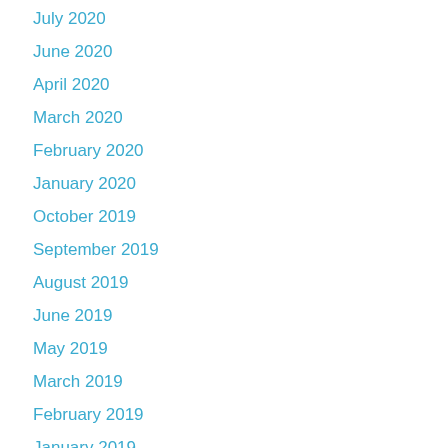July 2020
June 2020
April 2020
March 2020
February 2020
January 2020
October 2019
September 2019
August 2019
June 2019
May 2019
March 2019
February 2019
January 2019